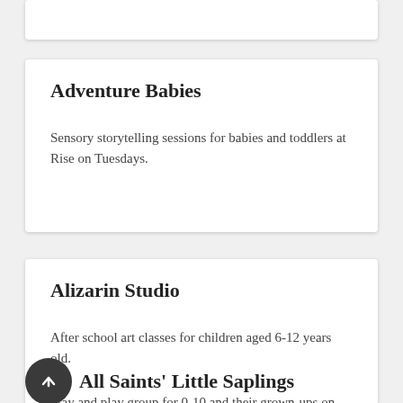Adventure Babies
Sensory storytelling sessions for babies and toddlers at Rise on Tuesdays.
Alizarin Studio
After school art classes for children aged 6-12 years old.
All Saints' Little Saplings
Stay and play group for 0-10 and their grown-ups on